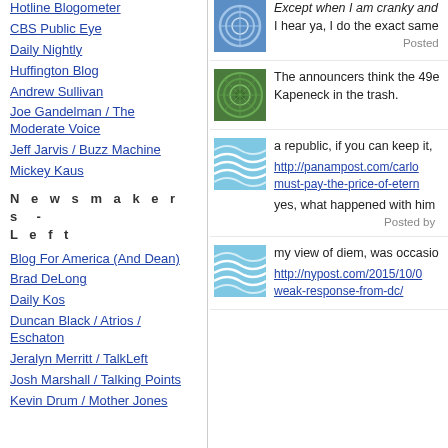Hotline Blogometer
CBS Public Eye
Daily Nightly
Huffington Blog
Andrew Sullivan
Joe Gandelman / The Moderate Voice
Jeff Jarvis / Buzz Machine
Mickey Kaus
Newsmakers - Left
Blog For America (And Dean)
Brad DeLong
Daily Kos
Duncan Black / Atrios / Eschaton
Jeralyn Merritt / TalkLeft
Josh Marshall / Talking Points
Kevin Drum / Mother Jones
Except when I am cranky and...
I hear ya, I do the exact same...
Posted
The announcers think the 49e... Kapeneck in the trash.
a republic, if you can keep it,...
http://panampost.com/carlo... must-pay-the-price-of-etern...
yes, what happened with him...
Posted by
my view of diem, was occasio...
http://nypost.com/2015/10/0... weak-response-from-dc/